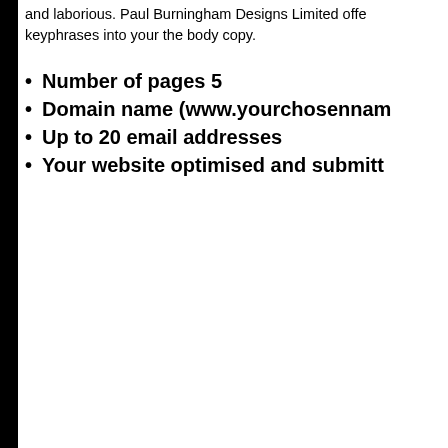and laborious. Paul Burningham Designs Limited offers keyphrases into your the body copy.
Number of pages 5
Domain name (www.yourchosenname…
Up to 20 email addresses
Your website optimised and submitted…